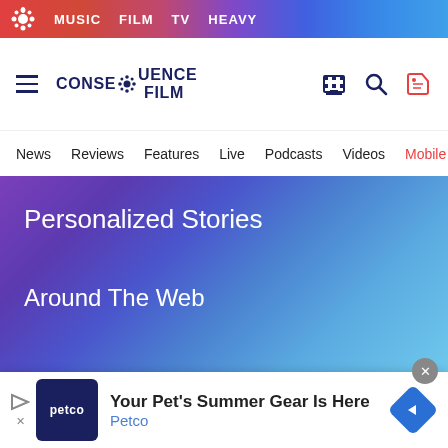MUSIC  FILM  TV  HEAVY
[Figure (logo): Consequence Film logo with gear icon, hamburger menu, search and tag icons]
News  Reviews  Features  Live  Podcasts  Videos  Mobile A
Personalized Stories
Around The Web
[Figure (photo): Two cropped face photos side by side — left shows a person with blue eye makeup, right shows a man with dark hair]
Your Pet's Summer Gear Is Here  Petco